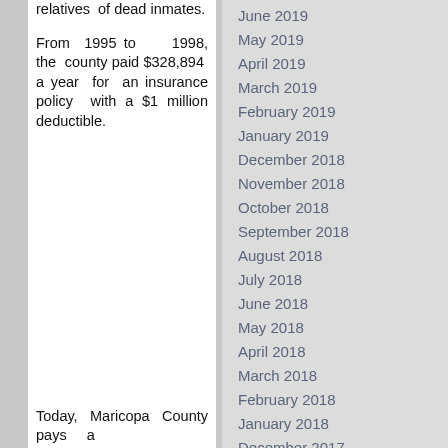relatives of dead inmates.
From 1995 to 1998, the county paid $328,894 a year for an insurance policy with a $1 million deductible.
Today, Maricopa County pays a
June 2019
May 2019
April 2019
March 2019
February 2019
January 2019
December 2018
November 2018
October 2018
September 2018
August 2018
July 2018
June 2018
May 2018
April 2018
March 2018
February 2018
January 2018
December 2017
November 2017
October 2017